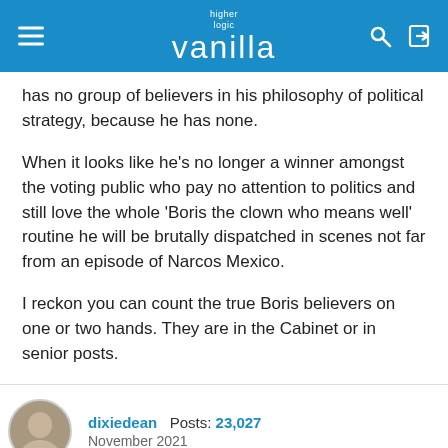higher logic vanilla
has no group of believers in his philosophy of political strategy, because he has none.
When it looks like he's no longer a winner amongst the voting public who pay no attention to politics and still love the whole 'Boris the clown who means well' routine he will be brutally dispatched in scenes not far from an episode of Narcos Mexico.
I reckon you can count the true Boris believers on one or two hands. They are in the Cabinet or in senior posts.
dixiedean  Posts: 23,027
November 2021